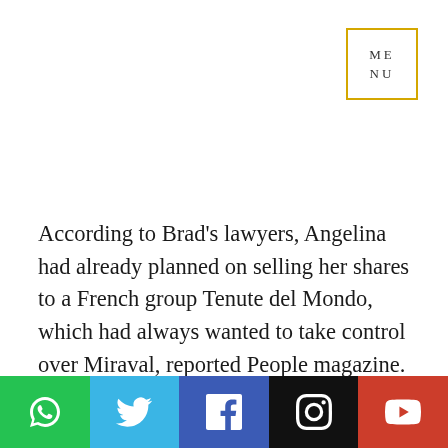ME
NU
According to Brad's lawyers, Angelina had already planned on selling her shares to a French group Tenute del Mondo, which had always wanted to take control over Miraval, reported People magazine. "Jolie pursued and then consummated the purported sale in secret, purposely keeping Pitt in the dark, and knowingly violating Pitt's contractual rights," read the statement from Brad's team.
[Figure (infographic): Social media share bar with icons: WhatsApp (green), Twitter (light blue), Facebook (dark blue), Instagram (black), YouTube (red)]